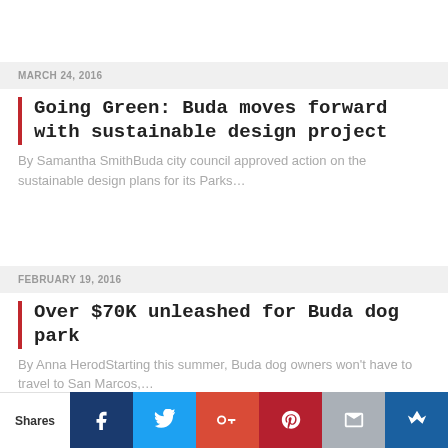MARCH 24, 2016
Going Green: Buda moves forward with sustainable design project
By Samantha SmithBuda city council approved action on the sustainable design plans for its Parks…
FEBRUARY 19, 2016
Over $70K unleashed for Buda dog park
By Anna HerodStarting this summer, Buda dog owners won't have to travel to San Marcos,…